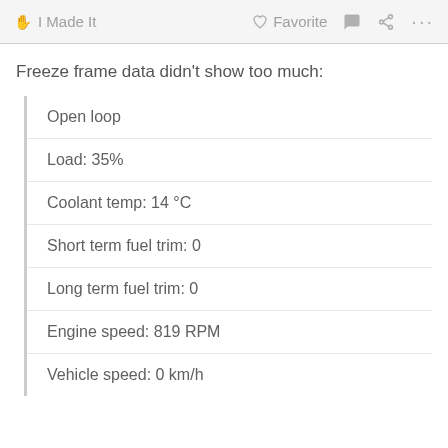I Made It   Favorite  ···
Freeze frame data didn't show too much:
Open loop
Load: 35%
Coolant temp: 14 °C
Short term fuel trim: 0
Long term fuel trim: 0
Engine speed: 819 RPM
Vehicle speed: 0 km/h